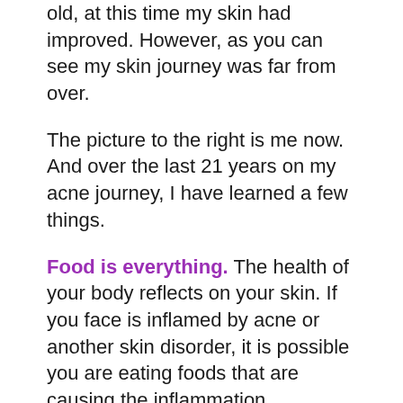old, at this time my skin had improved. However, as you can see my skin journey was far from over.
The picture to the right is me now. And over the last 21 years on my acne journey, I have learned a few things.
Food is everything. The health of your body reflects on your skin. If you face is inflamed by acne or another skin disorder, it is possible you are eating foods that are causing the inflammation.
Along with acne, I suffered from chronic digestive issues with constant bloating. I